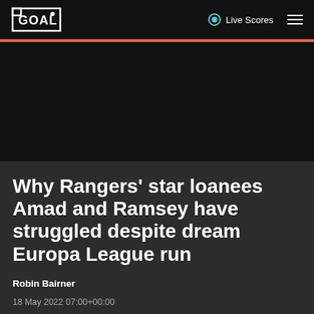GOAL | Live Scores
[Figure (photo): Dark hero image area for article]
Why Rangers' star loanees Amad and Ramsey have struggled despite dream Europa League run
Robin Bairner
18 May 2022 07:00+00:00